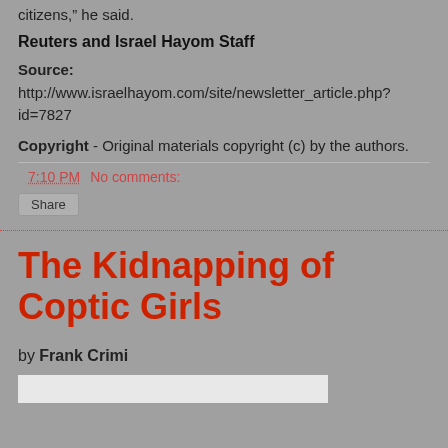citizens,” he said.
Reuters and Israel Hayom Staff
Source: http://www.israelhayom.com/site/newsletter_article.php?id=7827
Copyright - Original materials copyright (c) by the authors.
7:10 PM   No comments:
Share
The Kidnapping of Coptic Girls
by Frank Crimi